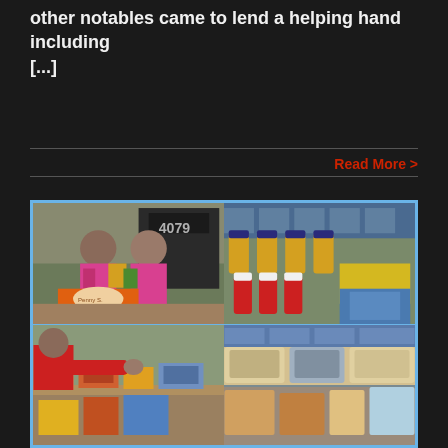other notables came to lend a helping hand including [...]
Read More >
[Figure (photo): Collage of four photos showing children and food items at a community event. Top left: two young girls smiling and holding food boxes outdoors. Top right: various condiment bottles, juice boxes, and packaged foods displayed on a table. Bottom left: a child in a red shirt reaching for items on a table. Bottom right: more packaged food items including bread and snacks.]